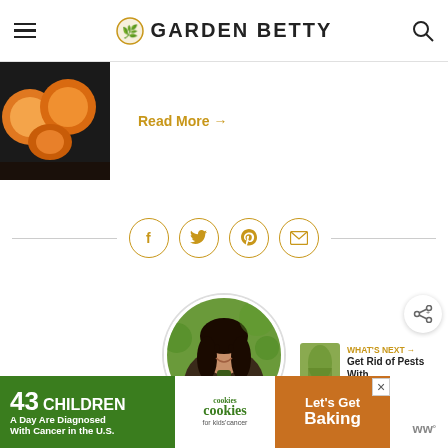GARDEN BETTY
[Figure (photo): Oranges/apricots fruit photo thumbnail]
Read More →
[Figure (infographic): Social share icons: Facebook, Twitter, Pinterest, Email in gold circles with divider lines]
[Figure (photo): Circular portrait photo of a young Asian woman smiling outdoors]
[Figure (logo): Share button icon]
[Figure (other): WHAT'S NEXT: Get Rid of Pests With... with thumbnail]
[Figure (other): Advertisement banner: 43 Children A Day Are Diagnosed With Cancer in the U.S. - cookies for kids cancer - Let's Get Baking]